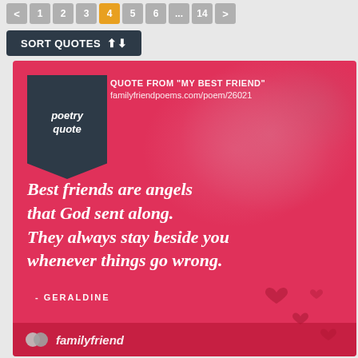< 1 2 3 4 5 6 ... 14 >
SORT QUOTES
[Figure (illustration): Poetry quote card with pink/red floral background. Badge in top-left reads 'poetry quote'. Source: QUOTE FROM "MY BEST FRIEND" familyfriendpoems.com/poem/26021. Large italic white text: 'Best friends are angels that God sent along. They always stay beside you whenever things go wrong.' Author: - GERALDINE. Bottom bar shows familyfriend logo.]